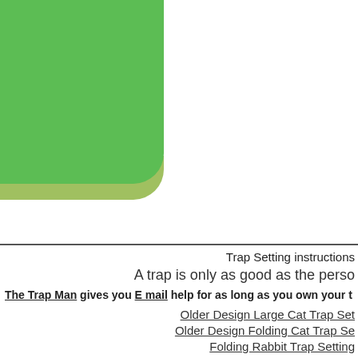[Figure (illustration): Green rounded rectangle decorative element — two-tone green box in upper left, bright green top portion and olive/yellow-green lower portion with rounded bottom-right corner]
Trap Setting instructions
A trap is only as good as the perso
The Trap Man gives you E mail help for as long as you own your t
Older Design Large Cat Trap Set
Older Design Folding Cat Trap Se
Folding Rabbit Trap Setting
Rabbit Trap Setting
Pheasant Trap Setting
Crayfish-trap-setting
Gliss Gliss trap setting
Mink Trap Setting